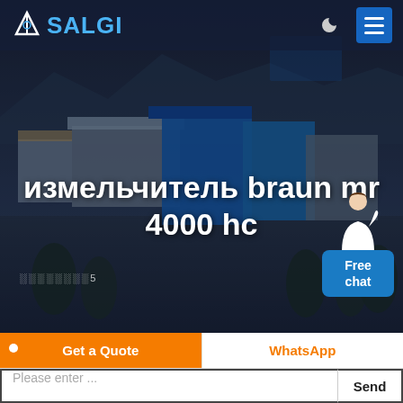ASALGI
[Figure (photo): Aerial/elevated view of an industrial facility with blue steel buildings, warehouses, and surrounding landscape at dusk/evening. Dark moody sky with mountains in background.]
измельчитель braun mr 4000 hc
░░░░░░░░5
Free chat
Get a Quote
WhatsApp
Please enter ...
Send